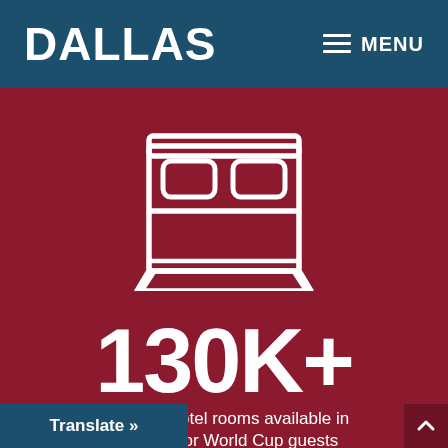DALLAS   ≡ MENU
[Figure (illustration): White outline icon of a hotel bed with two pillows on a dark red background]
130K+
umber of hotel rooms available in is region for World Cup guests